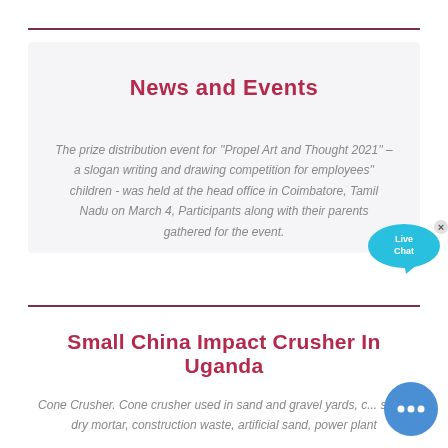News and Events
The prize distribution event for ''Propel Art and Thought 2021'' – a slogan writing and drawing competition for employees'' children - was held at the head office in Coimbatore, Tamil Nadu on March 4, Participants along with their parents gathered for the event.
Small China Impact Crusher In Uganda
Cone Crusher. Cone crusher used in sand and gravel yards, c... sand, dry mortar, construction waste, artificial sand, power plant